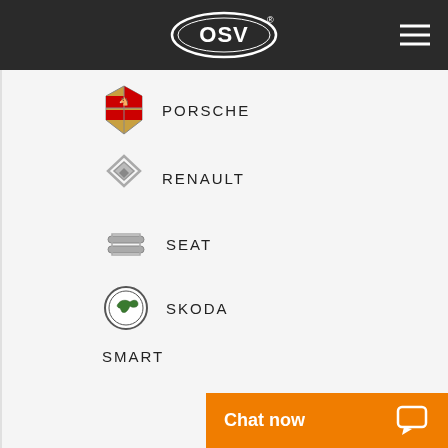OSV
PORSCHE
RENAULT
SEAT
SKODA
SMART
Chat now